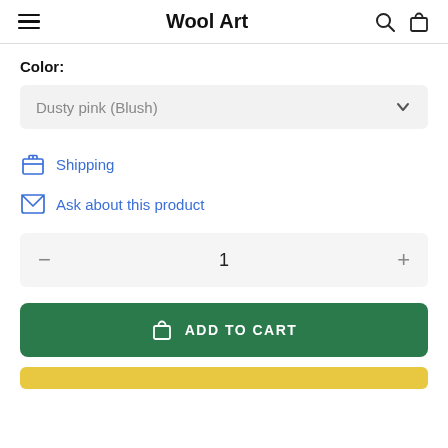Wool Art
Color:
Dusty pink (Blush)
Shipping
Ask about this product
1
ADD TO CART